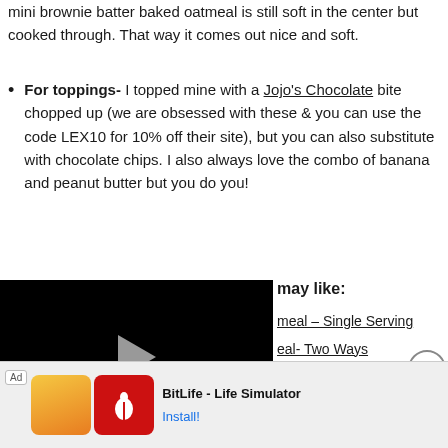mini brownie batter baked oatmeal is still soft in the center but cooked through. That way it comes out nice and soft.
For toppings- I topped mine with a Jojo's Chocolate bite chopped up (we are obsessed with these & you can use the code LEX10 for 10% off their site), but you can also substitute with chocolate chips. I also always love the combo of banana and peanut butter but you do you!
[Figure (screenshot): Embedded video player showing a black screen with a play button triangle in the center]
may like:
meal – Single Serving
eal- Two Ways
[Figure (screenshot): Advertisement bar at the bottom: Ad label, two app icons (character with sunglasses, BitLife sperm logo on red), BitLife - Life Simulator text, Install! button]